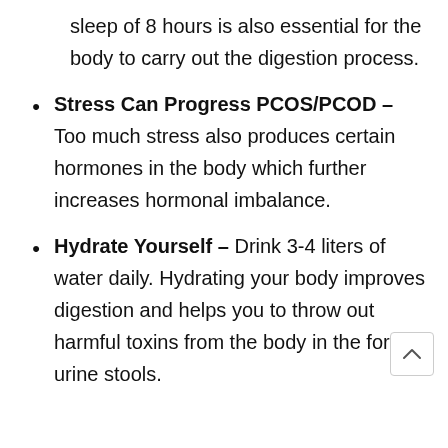sleep of 8 hours is also essential for the body to carry out the digestion process.
Stress Can Progress PCOS/PCOD – Too much stress also produces certain hormones in the body which further increases hormonal imbalance.
Hydrate Yourself – Drink 3-4 liters of water daily. Hydrating your body improves digestion and helps you to throw out harmful toxins from the body in the form of urine stools.